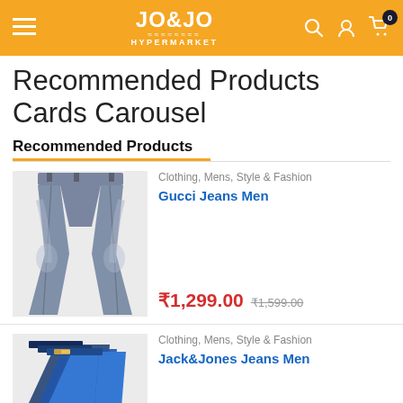JO&JO HYPERMARKET
Recommended Products Cards Carousel
Recommended Products
[Figure (photo): Grey slim fit jeans laid flat, showing front view]
Clothing, Mens, Style & Fashion
Gucci Jeans Men
₹1,299.00  ₹1,599.00
[Figure (photo): Multiple pairs of blue denim jeans stacked/fanned out]
Clothing, Mens, Style & Fashion
Jack&Jones Jeans Men